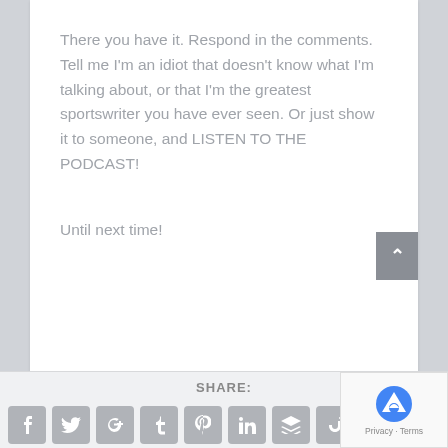There you have it. Respond in the comments. Tell me I'm an idiot that doesn't know what I'm talking about, or that I'm the greatest sportswriter you have ever seen. Or just show it to someone, and LISTEN TO THE PODCAST!
Until next time!
SHARE: